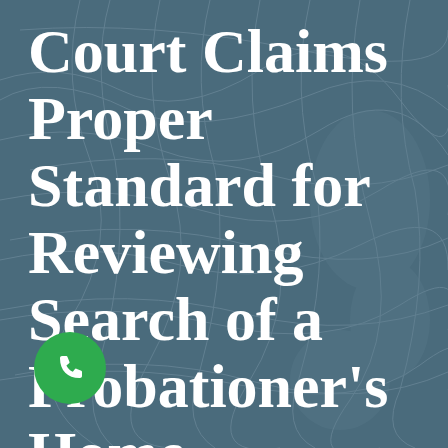[Figure (illustration): Dark teal/steel-blue background with a faint map overlay showing roads and terrain lines]
Court Claims Proper Standard for Reviewing Search of a Probationer's Home
[Figure (other): Green circular phone/call button icon in the bottom left corner]